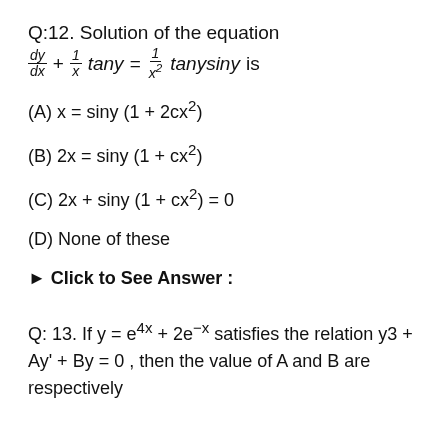Q:12. Solution of the equation dy/dx + (1/x)tany = (1/x²)tanysiny is
(A) x = siny (1 + 2cx²)
(B) 2x = siny (1 + cx²)
(C) 2x + siny (1 + cx²) = 0
(D) None of these
▶ Click to See Answer :
Q: 13. If y = e^4x + 2e^-x satisfies the relation y3 + Ay' + By = 0 , then the value of A and B are respectively